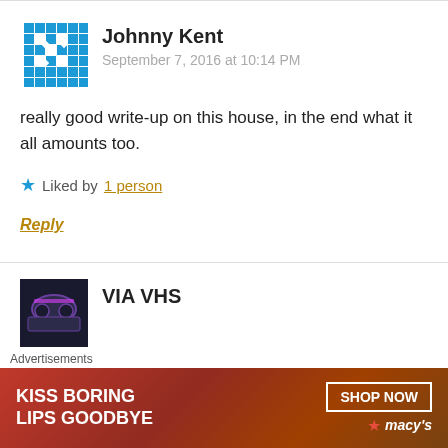Johnny Kent
September 7, 2016 at 10:14 PM
really good write-up on this house, in the end what it all amounts too.
Liked by 1 person
Reply
VIA VHS
Advertisements
[Figure (illustration): Macy's advertisement banner reading KISS BORING LIPS GOODBYE with SHOP NOW button and Macy's star logo]